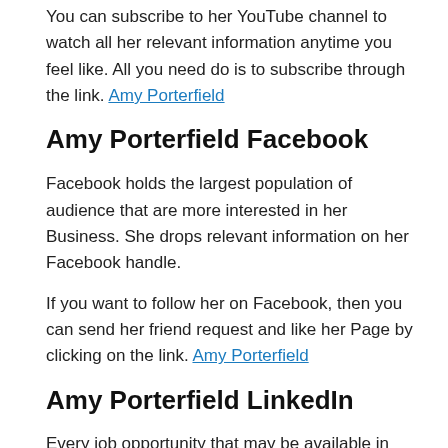You can subscribe to her YouTube channel to watch all her relevant information anytime you feel like. All you need do is to subscribe through the link. Amy Porterfield
Amy Porterfield Facebook
Facebook holds the largest population of audience that are more interested in her Business. She drops relevant information on her Facebook handle.
If you want to follow her on Facebook, then you can send her friend request and like her Page by clicking on the link. Amy Porterfield
Amy Porterfield LinkedIn
Every job opportunity that may be available in her Business is made open to the public through her LinkedIn account. If you feel you can work with Amy Porterfield and have the required skill set,